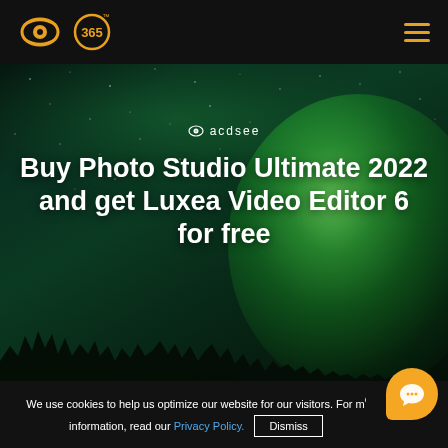[Figure (screenshot): ACDSee website navigation bar with logo (eye icon and 365 badge) on black background with hamburger menu icon in orange on the right]
[Figure (photo): Dark night sky photo with green aurora borealis / northern lights and a glowing green orb shape on the right side, with dark treeline silhouette at the bottom]
Buy Photo Studio Ultimate 2022 and get Luxea Video Editor 6 for free
We use cookies to help us optimize our website for our visitors. For more information, read our Privacy Policy.
Dismiss